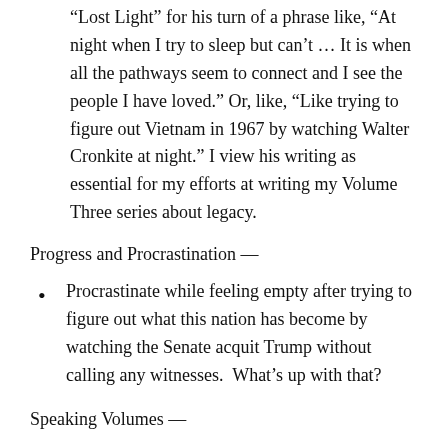“Lost Light” for his turn of a phrase like, “At night when I try to sleep but can’t … It is when all the pathways seem to connect and I see the people I have loved.” Or, like, “Like trying to figure out Vietnam in 1967 by watching Walter Cronkite at night.” I view his writing as essential for my efforts at writing my Volume Three series about legacy.
Progress and Procrastination —
Procrastinate while feeling empty after trying to figure out what this nation has become by watching the Senate acquit Trump without calling any witnesses.  What’s up with that?
Speaking Volumes —
Treating  “11 Simple Steps for Finding the Authentic